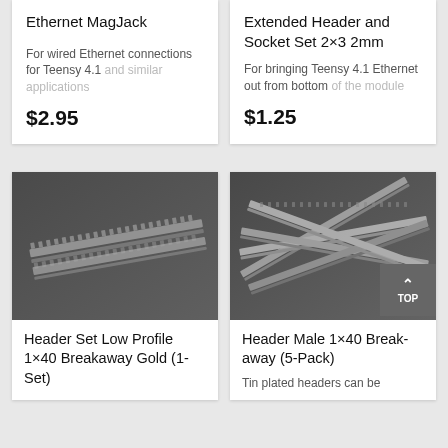Ethernet MagJack
For wired Ethernet connections for Teensy 4.1 and similar applications
$2.95
Extended Header and Socket Set 2×3 2mm
For bringing Teensy 4.1 Ethernet out from bottom of the module
$1.25
[Figure (photo): Header Set Low Profile 1×40 Breakaway Gold (1-Set) - photo of metal pin headers on dark background]
Header Set Low Profile 1×40 Breakaway Gold (1-Set)
[Figure (photo): Header Male 1×40 Break-away (5-Pack) - photo of multiple metal pin headers on dark background]
Header Male 1×40 Break-away (5-Pack)
Tin plated headers can be